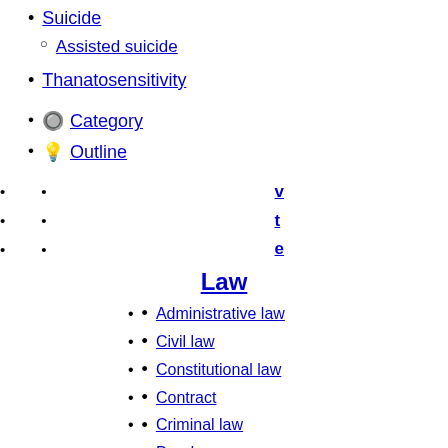Suicide
Assisted suicide
Thanatosensitivity
Category
Outline
v
t
e
Law
Administrative law
Civil law
Constitutional law
Contract
Criminal law
Deed
Equity
Evidence
International law
Law of obligations
Private law
Procedure
Civil
Core subjects